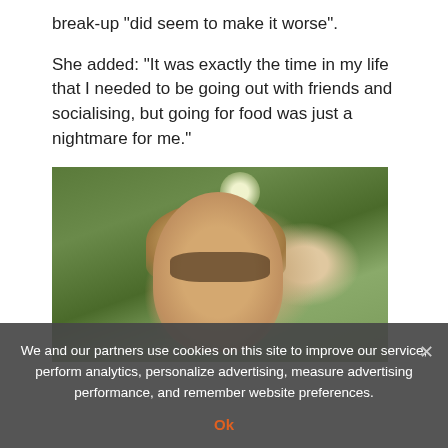break-up "did seem to make it worse".
She added: "It was exactly the time in my life that I needed to be going out with friends and socialising, but going for food was just a nightmare for me."
[Figure (photo): Outdoor photo of a young woman with blonde hair wearing sunglasses, smiling, with trees and crowd in background]
We and our partners use cookies on this site to improve our service, perform analytics, personalize advertising, measure advertising performance, and remember website preferences.
Ok